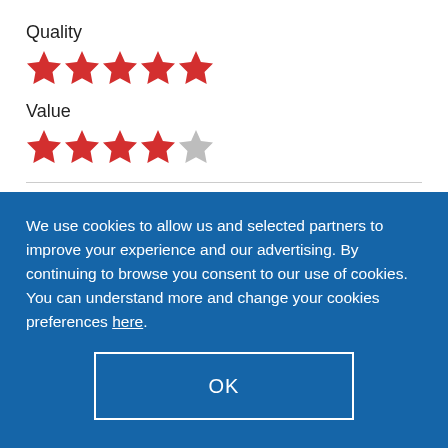Quality
[Figure (other): 5 red stars rating for Quality]
Value
[Figure (other): 4 red stars and 1 grey star rating for Value]
Excellent service
Service and vale replacement was done on time
We use cookies to allow us and selected partners to improve your experience and our advertising. By continuing to browse you consent to our use of cookies. You can understand more and change your cookies preferences here.
OK